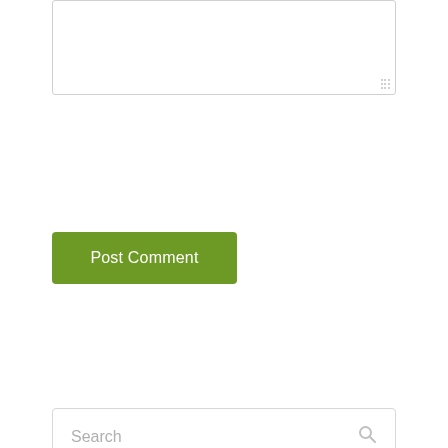[Figure (screenshot): Empty textarea input box with resize handle in bottom-right corner]
Post Comment
Search
Press & Publications
Project Updates
Resources
Musings